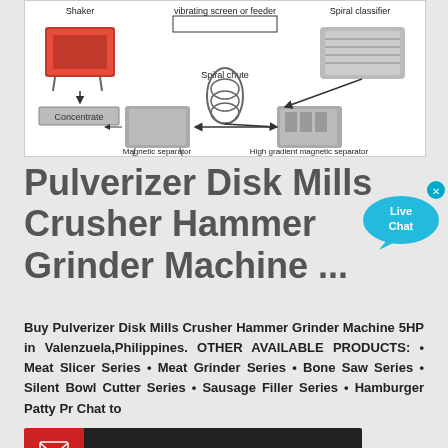[Figure (schematic): Mining/mineral processing equipment flow diagram showing: Shaker, vibrating screen or feeder, Spiral classifier, Spiral chute, Concentrate, Magnetic separator, High gradient magnetic separator with arrows indicating flow direction]
Pulverizer Disk Mills Crusher Hammer Grinder Machine ...
[Figure (illustration): Live Chat bubble button overlay in cyan blue with white text 'Live Chat' and an X close button]
Buy Pulverizer Disk Mills Crusher Hammer Grinder Machine 5HP in Valenzuela,Philippines. OTHER AVAILABLE PRODUCTS: • Meat Slicer Series • Meat Grinder Series • Bone Saw Series • Silent Bowl Cutter Series • Sausage Filler Series • Hamburger Patty Pr Chat to
[Figure (infographic): Contact bar with red email icon section and dark section reading MAKIPAG-UGNAYAN SA AMIN]
[Figure (photo): Partial photo of industrial machinery/equipment at bottom of page, blue tinted]